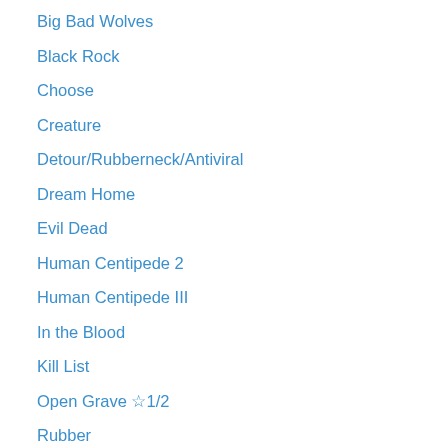Big Bad Wolves
Black Rock
Choose
Creature
Detour/Rubberneck/Antiviral
Dream Home
Evil Dead
Human Centipede 2
Human Centipede III
In the Blood
Kill List
Open Grave ☆1/2
Rubber
Shark Night 3D
Stake Land
The Bleeding House
The Reef
The Resident
The Road
Wolf Creek 2